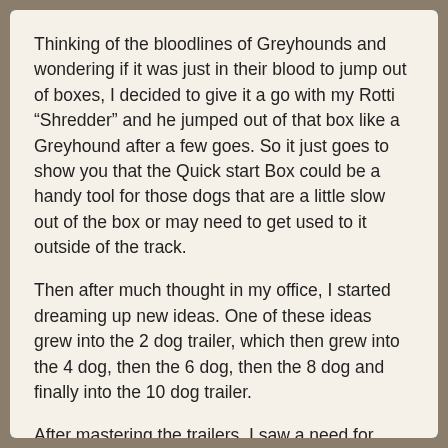Thinking of the bloodlines of Greyhounds and wondering if it was just in their blood to jump out of boxes, I decided to give it a go with my Rotti “Shredder” and he jumped out of that box like a Greyhound after a few goes. So it just goes to show you that the Quick start Box could be a handy tool for those dogs that are a little slow out of the box or may need to get used to it outside of the track.
Then after much thought in my office, I started dreaming up new ideas. One of these ideas grew into the 2 dog trailer, which then grew into the 4 dog, then the 6 dog, then the 8 dog and finally into the 10 dog trailer.
After mastering the trailers, I saw a need for other things such as the Weighing Scales and Draglures.
So it has been a long 29 years and the experience I have